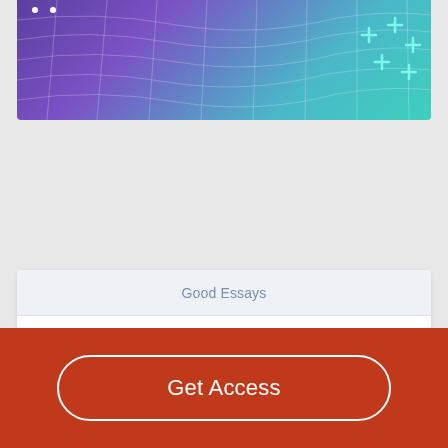[Figure (illustration): Abstract banner graphic with purple to teal gradient background, mesh grid lines, white dots, and teal plus signs on the right side.]
Good Essays
The Middle-Range Theory Of Self-Care Of Chronic Illness
Get Access